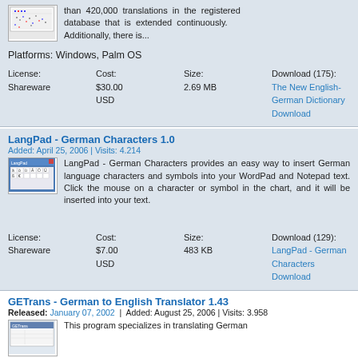than 420,000 translations in the registered database that is extended continuously. Additionally, there is...
Platforms: Windows, Palm OS
License: Shareware   Cost: $30.00 USD   Size: 2.69 MB   Download (175): The New English-German Dictionary Download
LangPad - German Characters 1.0
Added: April 25, 2006 | Visits: 4.214
LangPad - German Characters provides an easy way to insert German language characters and symbols into your WordPad and Notepad text. Click the mouse on a character or symbol in the chart, and it will be inserted into your text.
License: Shareware   Cost: $7.00 USD   Size: 483 KB   Download (129): LangPad - German Characters Download
GETrans - German to English Translator 1.43
Released: January 07, 2002  |  Added: August 25, 2006 | Visits: 3.958
This program specializes in translating German...